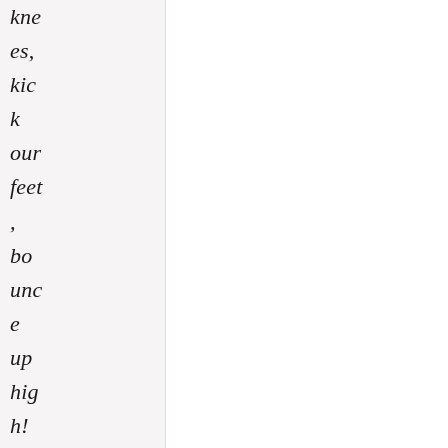knees, kick our feet, bounce up high!